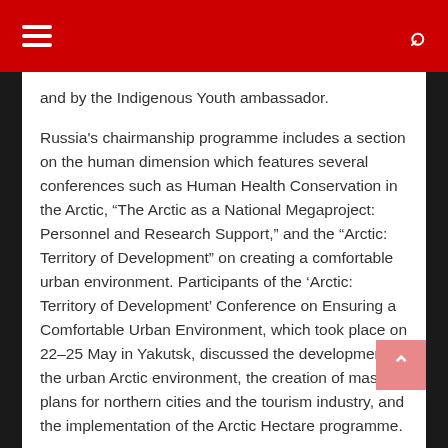and by the Indigenous Youth ambassador.
Russia’s chairmanship programme includes a section on the human dimension which features several conferences such as Human Health Conservation in the Arctic, “The Arctic as a National Megaproject: Personnel and Research Support,” and the “Arctic: Territory of Development” on creating a comfortable urban environment. Participants of the ‘Arctic: Territory of Development’ Conference on Ensuring a Comfortable Urban Environment, which took place on 22–25 May in Yakutsk, discussed the development of the urban Arctic environment, the creation of master plans for northern cities and the tourism industry, and the implementation of the Arctic Hectare programme.
The Conference on Waste and Microplastic Problem in the Arctic, the International Forum on Designated Conservation Areas (DSA) in the Arctic, and the Arctic Meteorological Summit will discuss the future of